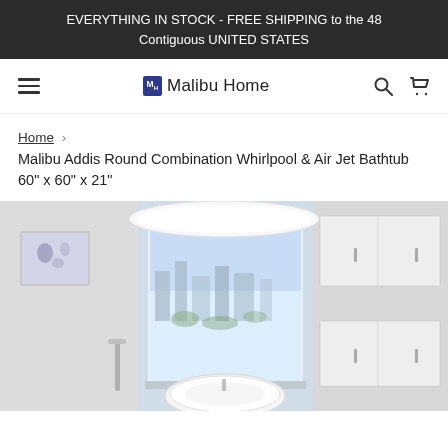EVERYTHING IN STOCK - FREE SHIPPING to the 48 Contiguous UNITED STATES
[Figure (logo): Malibu Home logo with blue MH icon and sans-serif brand name]
Home › Malibu Addis Round Combination Whirlpool & Air Jet Bathtub 60" x 60" x 21"
[Figure (photo): Luxury white round freestanding bathtub in a modern bright bathroom with large windows showing city view and white cabinetry on the right]